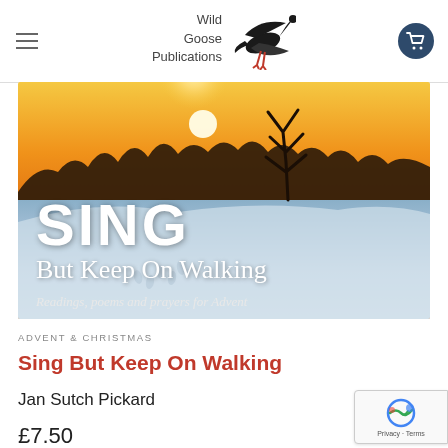Wild Goose Publications
[Figure (photo): Book cover for 'Sing But Keep On Walking' showing a winter snowy landscape at sunset/golden hour with a bare tree silhouetted against an orange sky, pine trees in background, snowfield in foreground with footprints. Text overlay reads: SING / But Keep On Walking / Readings, poems and prayers for Advent]
ADVENT & CHRISTMAS
Sing But Keep On Walking
Jan Sutch Pickard
£7.50